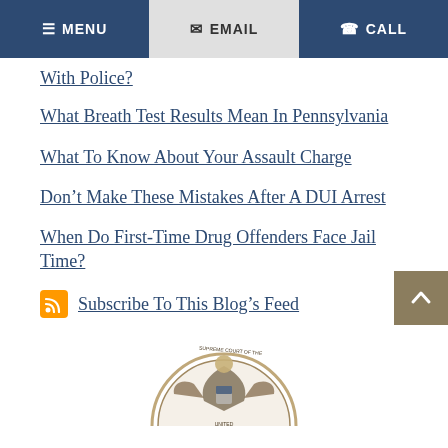MENU  EMAIL  CALL
With Police?
What Breath Test Results Mean In Pennsylvania
What To Know About Your Assault Charge
Don't Make These Mistakes After A DUI Arrest
When Do First-Time Drug Offenders Face Jail Time?
Subscribe To This Blog's Feed
[Figure (illustration): Partial view of the seal of the Supreme Court of the United States — circular emblem with an eagle and text around the border]